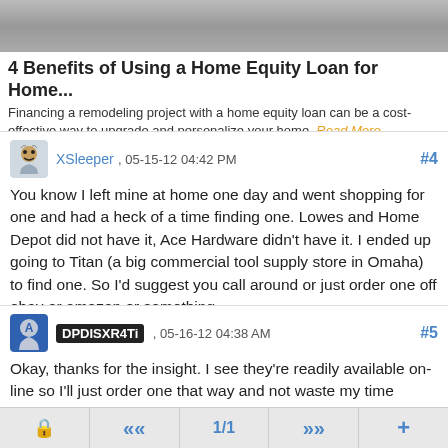[Figure (photo): Blurred background photo at top of page]
4 Benefits of Using a Home Equity Loan for Home...
Financing a remodeling project with a home equity loan can be a cost-effective way to upgrade and personalize your home. Read More
XSleeper , 05-15-12 04:42 PM #4
You know I left mine at home one day and went shopping for one and had a heck of a time finding one. Lowes and Home Depot did not have it, Ace Hardware didn't have it. I ended up going to Titan (a big commercial tool supply store in Omaha) to find one. So I'd suggest you call around or just order one off ebay or amazon or something.
DPDISXR4Ti , 05-16-12 04:38 AM #5
Okay, thanks for the insight. I see they're readily available on-line so I'll just order one that way and not waste my time walking the aisles at Home Depot.
🔒  «  1/1  »  +